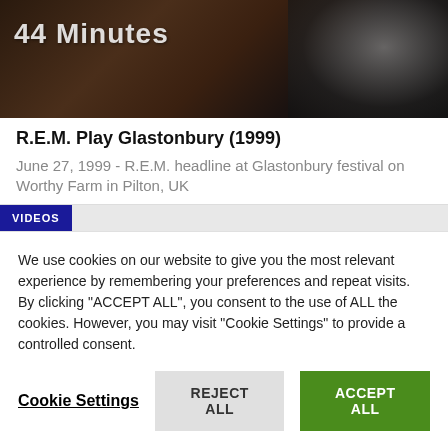[Figure (screenshot): Video thumbnail showing a dark image with a microphone visible on the right side and a video duration label '44 Minutes' in the top left.]
R.E.M. Play Glastonbury (1999)
June 27, 1999 - R.E.M. headline at Glastonbury festival on Worthy Farm in Pilton, UK
VIDEOS
We use cookies on our website to give you the most relevant experience by remembering your preferences and repeat visits. By clicking "ACCEPT ALL", you consent to the use of ALL the cookies. However, you may visit "Cookie Settings" to provide a controlled consent.
Cookie Settings  REJECT ALL  ACCEPT ALL